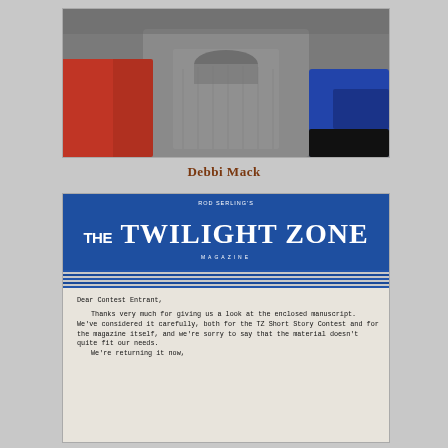[Figure (photo): Photo of a person wearing a grey turtleneck sweater, partially visible, with red clothing visible on left side and blue/black object on right side]
Debbi Mack
[Figure (photo): Photo of a Twilight Zone Magazine rejection letter. The letter header has the Rod Serling's The Twilight Zone Magazine logo in blue and white. The letter reads: Dear Contest Entrant, Thanks very much for giving us a look at the enclosed manuscript. We've considered it carefully, both for the TZ Short Story Contest and for the magazine itself, and we're sorry to say that the material doesn't quite fit our needs. We're returning it now,]